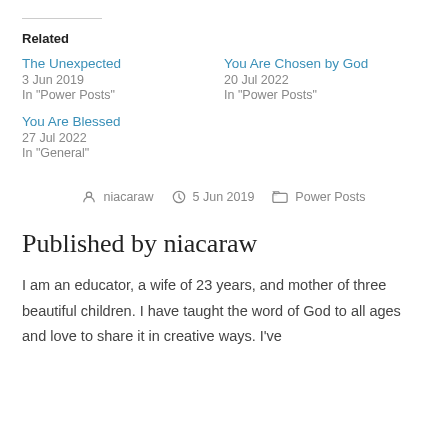Related
The Unexpected
3 Jun 2019
In "Power Posts"
You Are Chosen by God
20 Jul 2022
In "Power Posts"
You Are Blessed
27 Jul 2022
In "General"
niacaraw  5 Jun 2019  Power Posts
Published by niacaraw
I am an educator, a wife of 23 years, and mother of three beautiful children. I have taught the word of God to all ages and love to share it in creative ways. I've